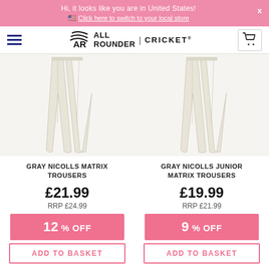Hi, it looks like you are in United States! 🇺🇸 Click here to switch to your local store
[Figure (logo): All Rounder Cricket logo with AR monogram and three-stripe graphic]
[Figure (photo): Gray Nicolls Matrix Trousers - white cricket trousers product photo]
GRAY NICOLLS MATRIX TROUSERS
£21.99
RRP £24.99
12 % OFF
ADD TO BASKET
[Figure (photo): Gray Nicolls Junior Matrix Trousers - white cricket trousers product photo]
GRAY NICOLLS JUNIOR MATRIX TROUSERS
£19.99
RRP £21.99
9 % OFF
ADD TO BASKET